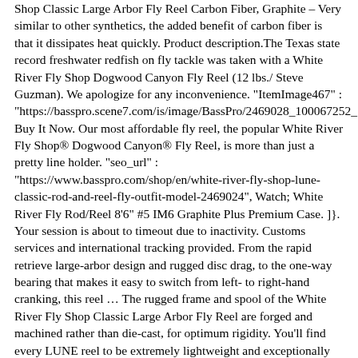Shop Classic Large Arbor Fly Reel Carbon Fiber, Graphite – Very similar to other synthetics, the added benefit of carbon fiber is that it dissipates heat quickly. Product description.The Texas state record freshwater redfish on fly tackle was taken with a White River Fly Shop Dogwood Canyon Fly Reel (12 lbs./ Steve Guzman). We apologize for any inconvenience. "ItemImage467" : "https://basspro.scene7.com/is/image/BassPro/2469028_100067252_ Buy It Now. Our most affordable fly reel, the popular White River Fly Shop® Dogwood Canyon® Fly Reel, is more than just a pretty line holder. "seo_url" : "https://www.basspro.com/shop/en/white-river-fly-shop-lune-classic-rod-and-reel-fly-outfit-model-2469024", Watch; White River Fly Rod/Reel 8'6" #5 IM6 Graphite Plus Premium Case. ]}. Your session is about to timeout due to inactivity. Customs services and international tracking provided. From the rapid retrieve large-arbor design and rugged disc drag, to the one-way bearing that makes it easy to switch from left- to right-hand cranking, this reel … The rugged frame and spool of the White River Fly Shop Classic Large Arbor Fly Reel are forged and machined rather than die-cast, for optimum rigidity. You'll find every LUNE reel to be extremely lightweight and exceptionally smooth. , Please provide this ID when contacting support via phone, email or chat. $34.00 2 bids + $11.99 shipping . "Line Weight_|_5":"27" { Maximum backing capacity and line retrieval, Machined from cold forged 6061-T6 aluminum. In the heart of Oregon and Washington's Columbia River Gorge. White River Fly